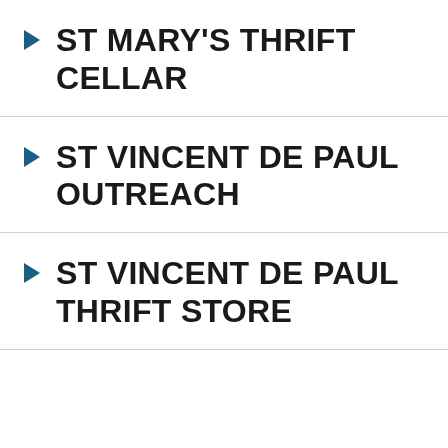ST MARY'S THRIFT CELLAR
ST VINCENT DE PAUL OUTREACH
ST VINCENT DE PAUL THRIFT STORE